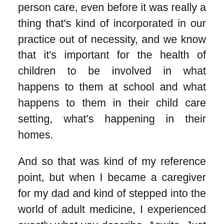person care, even before it was really a thing that's kind of incorporated in our practice out of necessity, and we know that it's important for the health of children to be involved in what happens to them at school and what happens to them in their child care setting, what's happening in their homes.
And so that was kind of my reference point, but when I became a caregiver for my dad and kind of stepped into the world of adult medicine, I experienced exactly what you describe, Aswita. Just this fragmentation providers not talking to one another, and just a lack of appreciation for the importance of our environment and the things that we're